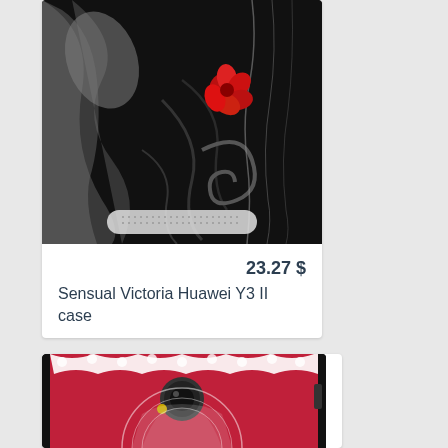[Figure (photo): Dark phone case with black and grey swirling design and a red poppy flower, shown on Huawei Y3 II phone]
23.27 $
Sensual Victoria Huawei Y3 II case
[Figure (photo): Red and white mandala pattern phone case on Huawei Y3 II phone, partially visible at bottom of page]